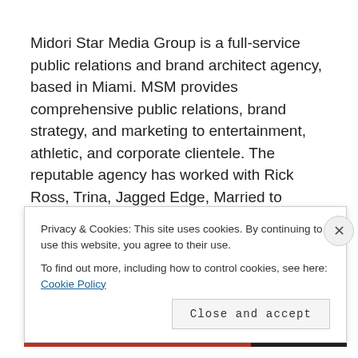Midori Star Media Group is a full-service public relations and brand architect agency, based in Miami. MSM provides comprehensive public relations, brand strategy, and marketing to entertainment, athletic, and corporate clientele. The reputable agency has worked with Rick Ross, Trina, Jagged Edge, Married to Medicine's Stars, NFL star Phillip Buchanan, Bryant Mckinnie, NBA star
Privacy & Cookies: This site uses cookies. By continuing to use this website, you agree to their use.
To find out more, including how to control cookies, see here: Cookie Policy
Close and accept